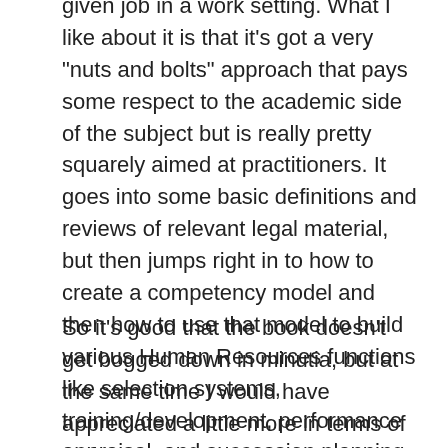given job in a work setting. What I like about it is that it’s got a very “nuts and bolts” approach that pays some respect to the academic side of the subject but is really pretty squarely aimed at practitioners. It goes into some basic definitions and reviews of relevant legal material, but then jumps right in to how to create a competency model and then how to use that model to build various Human Resources functions like selection systems, training/development, performance appraisal, and succession planning. There are little vignettes along the way that describe how real companies are doing all this stuff.
So it’s good that the book doesn’t get bogged down in minutia, but at the same time I would have appreciated a little more in terms of tools.